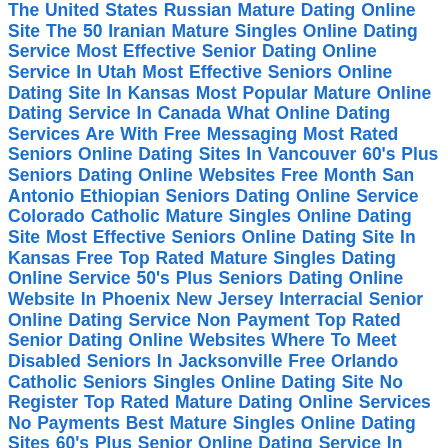The United States Russian Mature Dating Online Site The 50 Iranian Mature Singles Online Dating Service Most Effective Senior Dating Online Service In Utah Most Effective Seniors Online Dating Site In Kansas Most Popular Mature Online Dating Service In Canada What Online Dating Services Are With Free Messaging Most Rated Seniors Online Dating Sites In Vancouver 60's Plus Seniors Dating Online Websites Free Month San Antonio Ethiopian Seniors Dating Online Service Colorado Catholic Mature Singles Online Dating Site Most Effective Seniors Online Dating Site In Kansas Free Top Rated Mature Singles Dating Online Service 50's Plus Seniors Dating Online Website In Phoenix New Jersey Interracial Senior Online Dating Service Non Payment Top Rated Senior Dating Online Websites Where To Meet Disabled Seniors In Jacksonville Free Orlando Catholic Seniors Singles Online Dating Site No Register Top Rated Mature Dating Online Services No Payments Best Mature Singles Online Dating Sites 60's Plus Senior Online Dating Service In Australia No Credit Card Newest Seniors Dating Online Service What Dating Online Services Are With Free Messaging Most Effective Senior Dating Online Site In